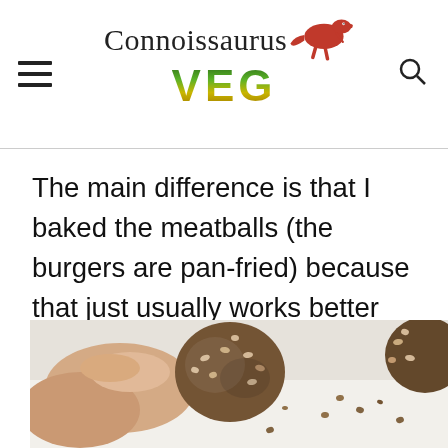Connoissaurus VEG
The main difference is that I baked the meatballs (the burgers are pan-fried) because that just usually works better for meatballs.
[Figure (photo): A hand holding a sesame-coated meatball close to the camera, with more meatballs visible in the background on a white surface.]